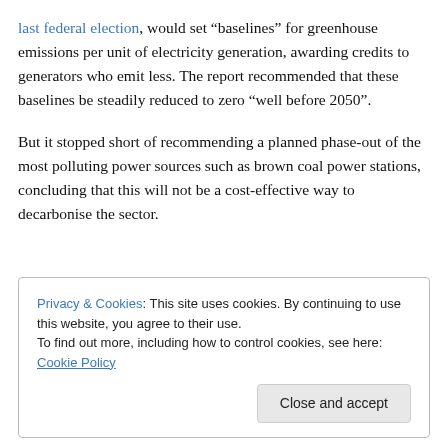last federal election, would set "baselines" for greenhouse emissions per unit of electricity generation, awarding credits to generators who emit less. The report recommended that these baselines be steadily reduced to zero "well before 2050".
But it stopped short of recommending a planned phase-out of the most polluting power sources such as brown coal power stations, concluding that this will not be a cost-effective way to decarbonise the sector.
Privacy & Cookies: This site uses cookies. By continuing to use this website, you agree to their use. To find out more, including how to control cookies, see here: Cookie Policy